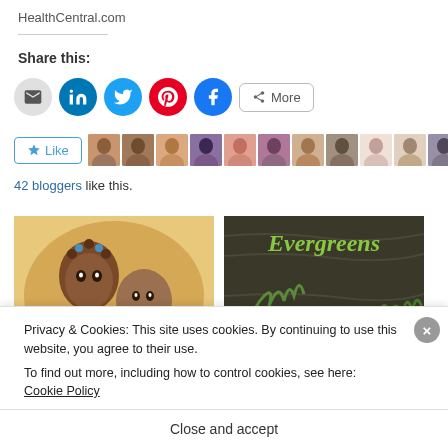HealthCentral.com
Share this:
[Figure (infographic): Social sharing icons: email, LinkedIn, Twitter, Pinterest, Facebook, and More button]
[Figure (infographic): Like button with star icon and row of 11 blogger avatar thumbnails]
42 bloggers like this.
[Figure (photo): Left: illustration of two children with braided hair on yellow background. Right: book cover with title 'Evergreens' in green text on dark background with foliage.]
Privacy & Cookies: This site uses cookies. By continuing to use this website, you agree to their use.
To find out more, including how to control cookies, see here: Cookie Policy
Close and accept